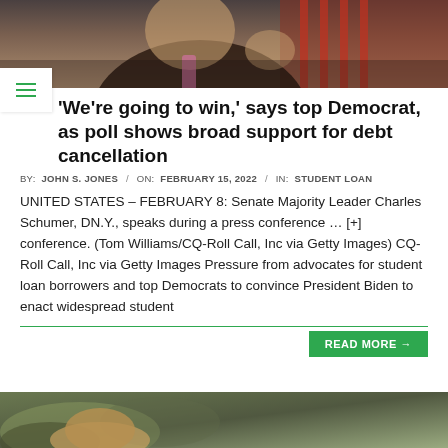[Figure (photo): Photo of a man in a dark suit and pink tie speaking at a press conference, with American flags in the background. The man is partially cropped, showing his upper body and raised hand.]
'We're going to win,' says top Democrat, as poll shows broad support for debt cancellation
BY: JOHN S. JONES / ON: FEBRUARY 15, 2022 / IN: STUDENT LOAN
UNITED STATES – FEBRUARY 8: Senate Majority Leader Charles Schumer, DN.Y., speaks during a press conference … [+] conference. (Tom Williams/CQ-Roll Call, Inc via Getty Images) CQ-Roll Call, Inc via Getty Images Pressure from advocates for student loan borrowers and top Democrats to convince President Biden to enact widespread student
[Figure (photo): Sponsored content section at the bottom with a partially visible image and 'Sponsored by' text with logo dots.]